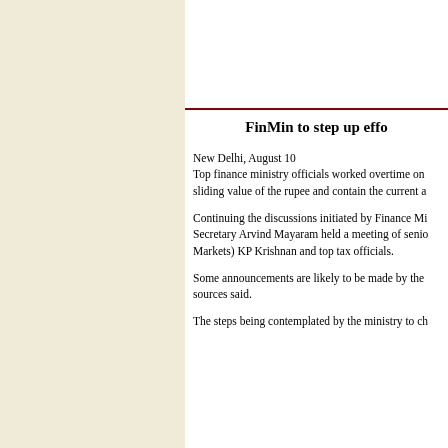FinMin to step up effo
New Delhi, August 10
Top finance ministry officials worked overtime on sliding value of the rupee and contain the current a
Continuing the discussions initiated by Finance Mi Secretary Arvind Mayaram held a meeting of senio Markets) KP Krishnan and top tax officials.
Some announcements are likely to be made by the sources said.
The steps being contemplated by the ministry to ch